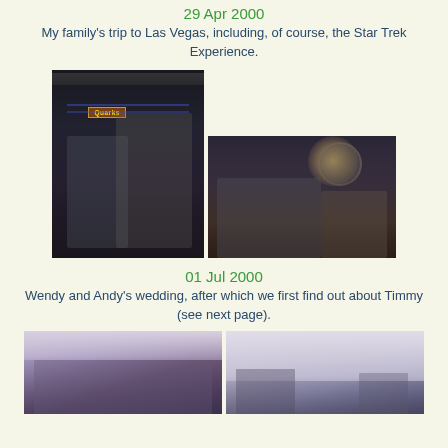29 Apr 2000
My family's trip to Las Vegas, including, of course, the Star Trek Experience.
[Figure (photo): Two people posing in front of Quarks bar sign in a dark venue, Star Trek Experience Las Vegas]
[Figure (photo): Three Asian people posing together in a restaurant/bar setting]
01 Jul 2000
Wendy and Andy's wedding, after which we first find out about Timmy (see next page).
[Figure (photo): Group of people sitting at a table at a wedding reception]
[Figure (photo): Wedding reception scene with people dancing or standing near a stage]